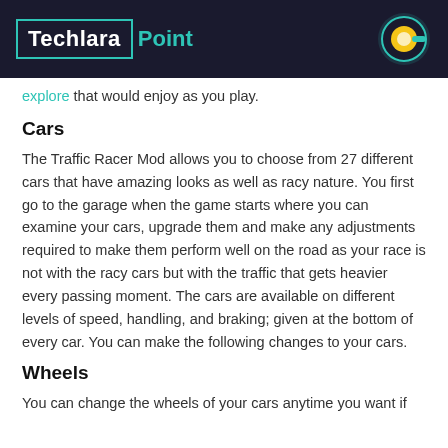TechlaraPoint
explore that would enjoy as you play.
Cars
The Traffic Racer Mod allows you to choose from 27 different cars that have amazing looks as well as racy nature. You first go to the garage when the game starts where you can examine your cars, upgrade them and make any adjustments required to make them perform well on the road as your race is not with the racy cars but with the traffic that gets heavier every passing moment. The cars are available on different levels of speed, handling, and braking; given at the bottom of every car. You can make the following changes to your cars.
Wheels
You can change the wheels of your cars anytime you want if